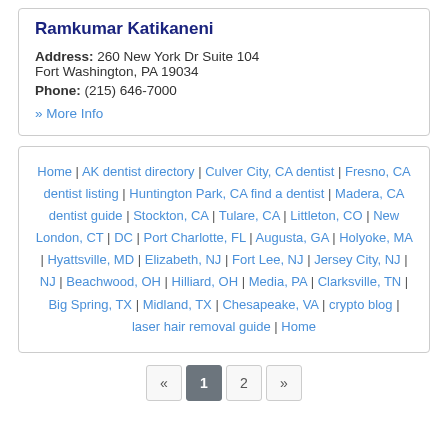Ramkumar Katikaneni
Address: 260 New York Dr Suite 104
Fort Washington, PA 19034
Phone: (215) 646-7000
» More Info
Home | AK dentist directory | Culver City, CA dentist | Fresno, CA dentist listing | Huntington Park, CA find a dentist | Madera, CA dentist guide | Stockton, CA | Tulare, CA | Littleton, CO | New London, CT | DC | Port Charlotte, FL | Augusta, GA | Holyoke, MA | Hyattsville, MD | Elizabeth, NJ | Fort Lee, NJ | Jersey City, NJ | NJ | Beachwood, OH | Hilliard, OH | Media, PA | Clarksville, TN | Big Spring, TX | Midland, TX | Chesapeake, VA | crypto blog | laser hair removal guide | Home
« 1 2 »